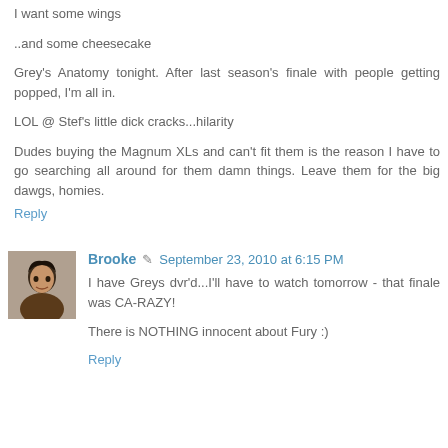I want some wings
..and some cheesecake
Grey's Anatomy tonight. After last season's finale with people getting popped, I'm all in.
LOL @ Stef's little dick cracks...hilarity
Dudes buying the Magnum XLs and can't fit them is the reason I have to go searching all around for them damn things. Leave them for the big dawgs, homies.
Reply
Brooke  September 23, 2010 at 6:15 PM
I have Greys dvr'd...I'll have to watch tomorrow - that finale was CA-RAZY!
There is NOTHING innocent about Fury :)
Reply